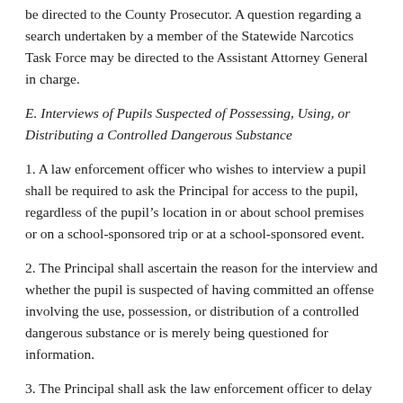be directed to the County Prosecutor. A question regarding a search undertaken by a member of the Statewide Narcotics Task Force may be directed to the Assistant Attorney General in charge.
E. Interviews of Pupils Suspected of Possessing, Using, or Distributing a Controlled Dangerous Substance
1. A law enforcement officer who wishes to interview a pupil shall be required to ask the Principal for access to the pupil, regardless of the pupil’s location in or about school premises or on a school-sponsored trip or at a school-sponsored event.
2. The Principal shall ascertain the reason for the interview and whether the pupil is suspected of having committed an offense involving the use, possession, or distribution of a controlled dangerous substance or is merely being questioned for information.
3. The Principal shall ask the law enforcement officer to delay the interview or conduct the interview away